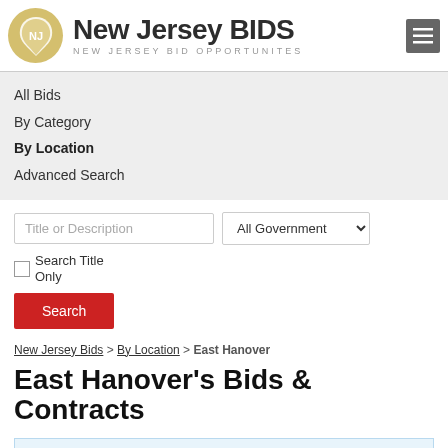[Figure (logo): New Jersey BIDS logo with NJ state silhouette in gold circle and site title text]
All Bids
By Category
By Location
Advanced Search
Title or Description | All Government ▾ | Search Title Only
Search
New Jersey Bids > By Location > East Hanover
East Hanover's Bids & Contracts
Looking for more state & federal bids?